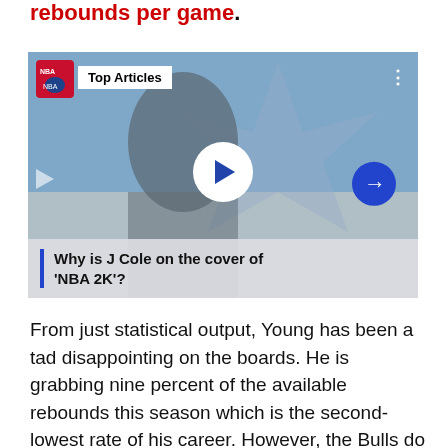rebounds per game.
[Figure (screenshot): Video thumbnail showing an NBA player with 'Top Articles' badge, play button overlay, arrow navigation button, and caption 'Why is J Cole on the cover of NBA 2K?']
From just statistical output, Young has been a tad disappointing on the boards. He is grabbing nine percent of the available rebounds this season which is the second-lowest rate of his career. However, the Bulls do grab just over one percent more rebounds